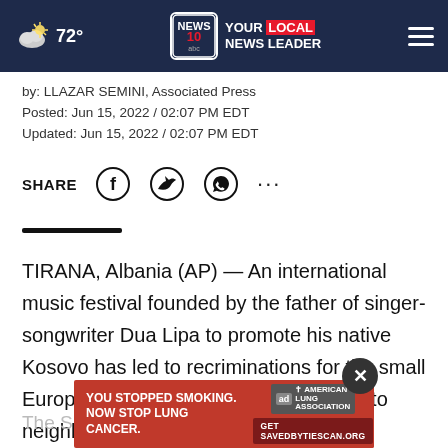72° | NEWS 10 YOUR LOCAL NEWS LEADER
by: LLAZAR SEMINI, Associated Press
Posted: Jun 15, 2022 / 02:07 PM EDT
Updated: Jun 15, 2022 / 02:07 PM EDT
SHARE
TIRANA, Albania (AP) — An international music festival founded by the father of singer-songwriter Dua Lipa to promote his native Kosovo has led to recriminations for the small European country after it lost the event to neighboring Albania.
The S…'s
[Figure (screenshot): American Lung Association advertisement: YOU STOPPED SMOKING. NOW STOP LUNG CANCER. Get SAVEDBYITESCAN.ORG]